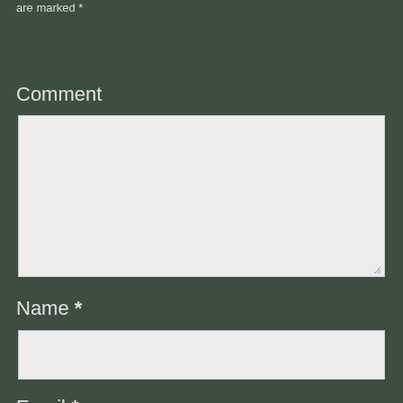are marked *
Comment
[Figure (screenshot): Empty comment textarea input box with light gray background and resize handle]
Name *
[Figure (screenshot): Empty name text input box with light gray background]
Email *